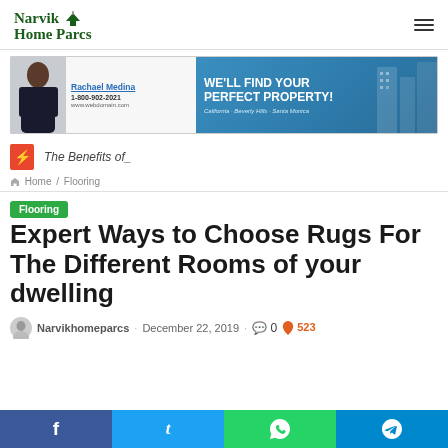Narvik Home Parcs
[Figure (photo): Advertisement banner for Rachael Medina real estate agent. Phone: 1-800-902-2021, www.webdomain.com. Text: WE'LL FIND YOUR PERFECT PROPERTY! California - Beverly Hills - Santa Monica]
The Benefits of_
Home / Flooring
Flooring
Expert Ways to Choose Rugs For The Different Rooms of your dwelling
Narvikhomeparcs · December 22, 2019 · 0 · 523
f  y  WhatsApp  Telegram